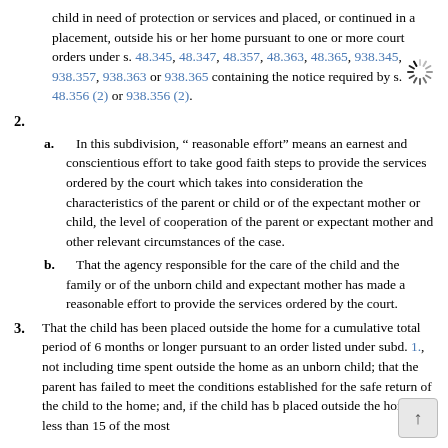child in need of protection or services and placed, or continued in a placement, outside his or her home pursuant to one or more court orders under s. 48.345, 48.347, 48.357, 48.363, 48.365, 938.345, 938.357, 938.363 or 938.365 containing the notice required by s. 48.356 (2) or 938.356 (2).
2.
a. In this subdivision, “ reasonable effort” means an earnest and conscientious effort to take good faith steps to provide the services ordered by the court which takes into consideration the characteristics of the parent or child or of the expectant mother or child, the level of cooperation of the parent or expectant mother and other relevant circumstances of the case.
b. That the agency responsible for the care of the child and the family or of the unborn child and expectant mother has made a reasonable effort to provide the services ordered by the court.
3. That the child has been placed outside the home for a cumulative total period of 6 months or longer pursuant to an order listed under subd. 1., not including time spent outside the home as an unborn child; that the parent has failed to meet the conditions established for the safe return of the child to the home; and, if the child has b placed outside the home for less than 15 of the most